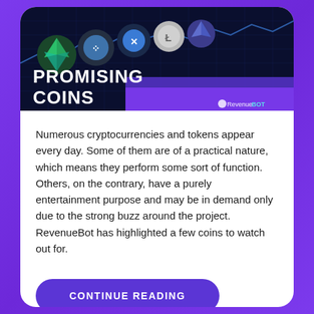[Figure (illustration): Dark blue background banner with cryptocurrency coin logos (Ethereum, IOTA, Ripple, Litecoin, Ethereum) and text 'PROMISING COINS' in bold white letters, with RevenueBot logo in the bottom right corner.]
Numerous cryptocurrencies and tokens appear every day. Some of them are of a practical nature, which means they perform some sort of function. Others, on the contrary, have a purely entertainment purpose and may be in demand only due to the strong buzz around the project. RevenueBot has highlighted a few coins to watch out for.
CONTINUE READING